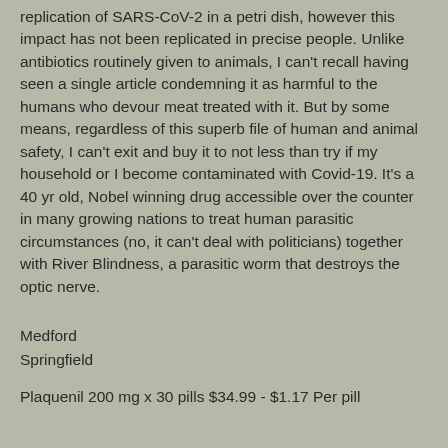replication of SARS-CoV-2 in a petri dish, however this impact has not been replicated in precise people. Unlike antibiotics routinely given to animals, I can't recall having seen a single article condemning it as harmful to the humans who devour meat treated with it. But by some means, regardless of this superb file of human and animal safety, I can't exit and buy it to not less than try if my household or I become contaminated with Covid-19. It's a 40 yr old, Nobel winning drug accessible over the counter in many growing nations to treat human parasitic circumstances (no, it can't deal with politicians) together with River Blindness, a parasitic worm that destroys the optic nerve.
Medford
Springfield
Plaquenil 200 mg x 30 pills $34.99 - $1.17 Per pill